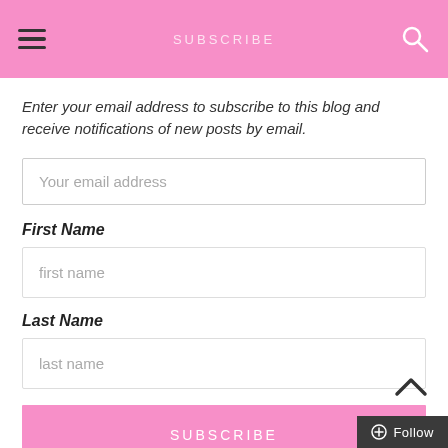SUBSCRIBE
Enter your email address to subscribe to this blog and receive notifications of new posts by email.
Your email address
First Name
first name
Last Name
last name
SUBSCRIBE
Follow